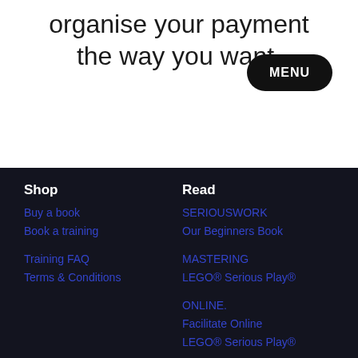organise your payment the way you want.
Shop
Buy a book
Book a training
Training FAQ
Terms & Conditions
Read
SERIOUSWORK Our Beginners Book
MASTERING LEGO® Serious Play®
ONLINE. Facilitate Online LEGO® Serious Play®